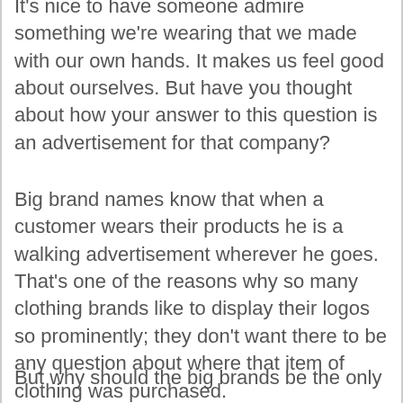It's nice to have someone admire something we're wearing that we made with our own hands. It makes us feel good about ourselves. But have you thought about how your answer to this question is an advertisement for that company?
Big brand names know that when a customer wears their products he is a walking advertisement wherever he goes. That's one of the reasons why so many clothing brands like to display their logos so prominently; they don't want there to be any question about where that item of clothing was purchased.
But why should the big brands be the only